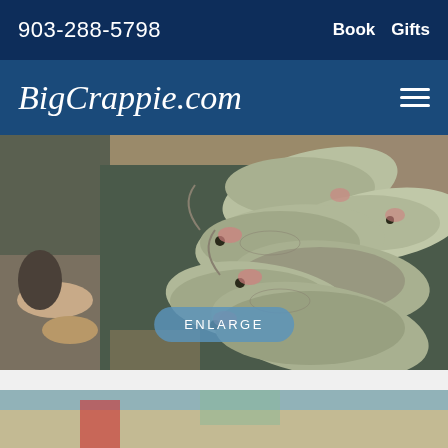903-288-5798   Book   Gifts
BigCrappie.com
[Figure (photo): A collection of crappie fish laid out on a flat surface, viewed from above, with a person's feet visible at the top left. An 'ENLARGE' button overlay appears at the bottom center.]
[Figure (photo): Partial view of a second photo at the bottom of the page, showing an outdoor scene.]